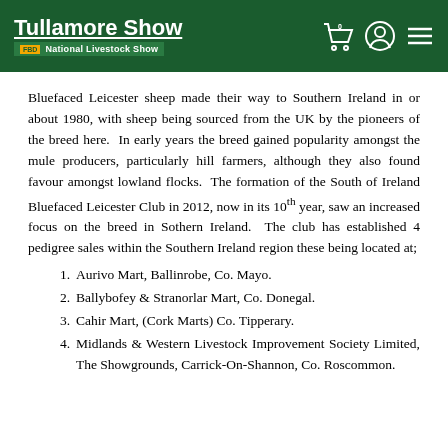Tullamore Show – FBD National Livestock Show
Bluefaced Leicester sheep made their way to Southern Ireland in or about 1980, with sheep being sourced from the UK by the pioneers of the breed here. In early years the breed gained popularity amongst the mule producers, particularly hill farmers, although they also found favour amongst lowland flocks. The formation of the South of Ireland Bluefaced Leicester Club in 2012, now in its 10th year, saw an increased focus on the breed in Sothern Ireland. The club has established 4 pedigree sales within the Southern Ireland region these being located at;
Aurivo Mart, Ballinrobe, Co. Mayo.
Ballybofey & Stranorlar Mart, Co. Donegal.
Cahir Mart, (Cork Marts) Co. Tipperary.
Midlands & Western Livestock Improvement Society Limited, The Showgrounds, Carrick-On-Shannon, Co. Roscommon.